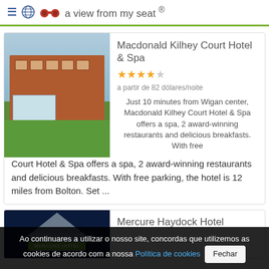a view from my seat ®
[Figure (photo): Macdonald Kilhey Court Hotel & Spa exterior, a red brick Victorian mansion with green lawns]
Macdonald Kilhey Court Hotel & Spa
a partir de 82 dólares/noite
Just 10 minutes from Wigan center, Macdonald Kilhey Court Hotel & Spa offers a spa, 2 award-winning restaurants and delicious breakfasts. With free parking, the hotel is 12 miles from Bolton. Set ...
[Figure (photo): Mercure Hotel sign at night, illuminated sign on building facade against dark blue sky]
Mercure Haydock Hotel
Ao continuares a utilizar o nosso site, concordas que utilizemos as cookies de acordo com a nossa Política de cookies  Fechar